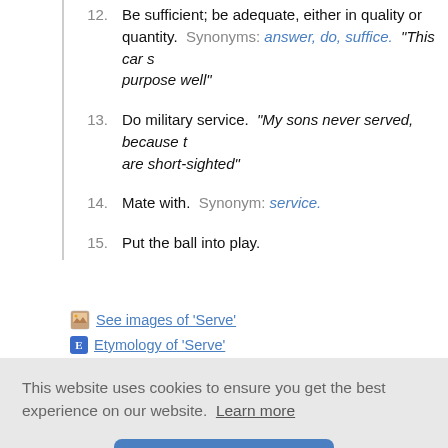12. Be sufficient; be adequate, either in quality or quantity. Synonyms: answer, do, suffice. "This car serves its purpose well", "Will $100 do?", "A 'B' grade doesn't suffice to get me into medical school", "Nothing else will serve"
13. Do military service. "My sons never served, because they are short-sighted"
14. Mate with. Synonym: service.
15. Put the ball into play.
See images of 'Serve'
Etymology of 'Serve'
This website uses cookies to ensure you get the best experience on our website. Learn more
Got it!
ion